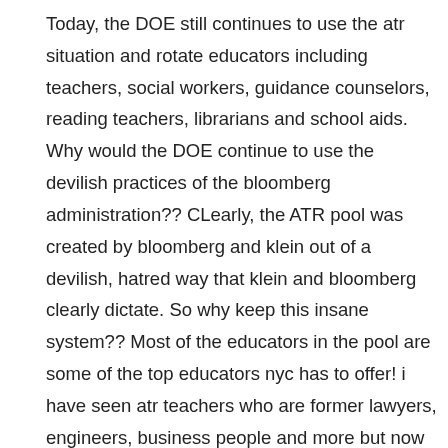Today, the DOE still continues to use the atr situation and rotate educators including teachers, social workers, guidance counselors, reading teachers, librarians and school aids. Why would the DOE continue to use the devilish practices of the bloomberg administration?? CLearly, the ATR pool was created by bloomberg and klein out of a devilish, hatred way that klein and bloomberg clearly dictate. So why keep this insane system?? Most of the educators in the pool are some of the top educators nyc has to offer! i have seen atr teachers who are former lawyers, engineers, business people and more but now they find themselves in the atr pool for no fault of their own except for the fact that klein and bloomberg are just evil and closed just